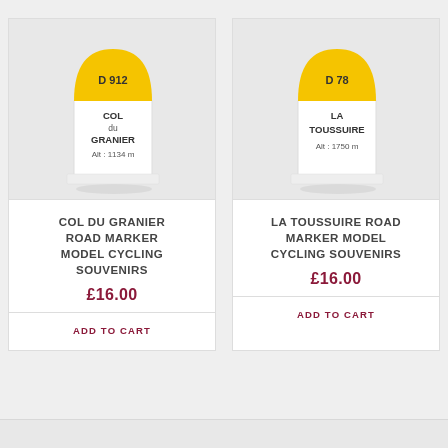[Figure (photo): Road marker model souvenir for Col du Granier. White cube-shaped base with yellow arch top, text: D 912, COL du GRANIER, Alt: 1134 m]
COL DU GRANIER ROAD MARKER MODEL CYCLING SOUVENIRS
£16.00
ADD TO CART
[Figure (photo): Road marker model souvenir for La Toussuire. White cube-shaped base with yellow arch top, text: D 78, LA TOUSSUIRE, Alt: 1750 m]
LA TOUSSUIRE ROAD MARKER MODEL CYCLING SOUVENIRS
£16.00
ADD TO CART